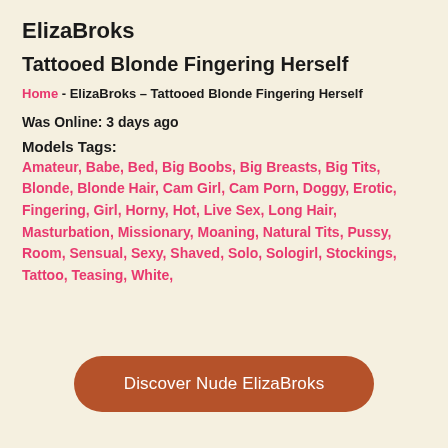ElizaBroks
Tattooed Blonde Fingering Herself
Home - ElizaBroks – Tattooed Blonde Fingering Herself
Was Online: 3 days ago
Models Tags: Amateur, Babe, Bed, Big Boobs, Big Breasts, Big Tits, Blonde, Blonde Hair, Cam Girl, Cam Porn, Doggy, Erotic, Fingering, Girl, Horny, Hot, Live Sex, Long Hair, Masturbation, Missionary, Moaning, Natural Tits, Pussy, Room, Sensual, Sexy, Shaved, Solo, Sologirl, Stockings, Tattoo, Teasing, White,
Discover Nude ElizaBroks